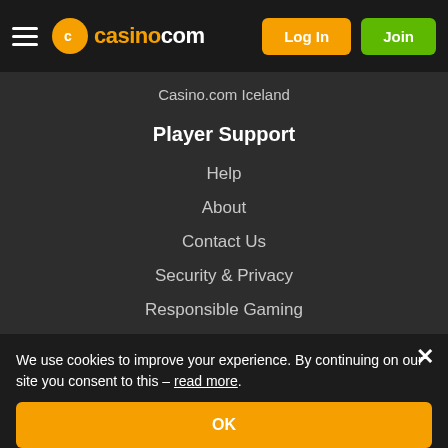casino.com — Log In | Join
Casino.com Iceland
Player Support
Help
About
Contact Us
Security & Privacy
Responsible Gaming
Fair Gaming
Terms & Conditions
24/7 Support
Email us at
support@casino.com
We use cookies to improve your experience. By continuing on our site you consent to this – read more.